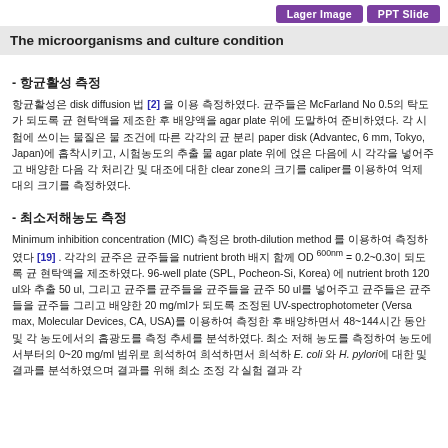Lager Image  PPT Slide
The microorganisms and culture condition
- 항균활성 측정
항균활성은 disk diffusion 법 [2] 을 이용 측정하였다. 균주들은 McFarland No 0.5의 탁도가 되도록 균 현탁액을 제조한 후 배양액을 agar plate 위에 도말하여 준비하였다. 각 시험에 쓰이는 물질은 물 조건에 따른 각각의 균 분리 paper disk (Advantec, 6 mm, Tokyo, Japan)에 흡착시키고, 시험농도의 추출 물 agar plate 위에 얹은 다음에 시 각각을 넣어주고 배양한 다음 각 처리간 및 대조에 대한 clear zone의 크기를 caliper를 이용하여 억제 대의 크기를 측정하였다.
- 최소저해농도 측정
Minimum inhibition concentration (MIC) 측정은 broth-dilution method 를 이용하여 측정하였다 [19] . 각각의 균주은 균주들을 nutrient broth 배지 함께 OD 600nm = 0.2~0.3이 되도록 균 현탁액을 제조하였다. 96-well plate (SPL, Pocheon-Si, Korea) 에 nutrient broth 120 ul와 추출 50 ul, 그리고 균주를 균주를 균주 50 ul를 넣어주고 균주들은 균주들을 균주들 그리고 배양한 20 mg/ml가 되도록 조정된 UV-spectrophotometer (Versa max, Molecular Devices, CA, USA)를 이용하여 측정한 후 배양하면서 48~144시간 동안 및 각 농도에서의 흡광도를 측정 추세를 분석하였다. 최소 저해 농도를 측정하여 농도에서부터의 0~20 mg/ml 범위로 희석하여 희석하고면서 희석하 E. coli 와 H. pylori에 대한 및 결과를 분석하였으며 결과를 위해 최소 조정 각 실험 결과 각